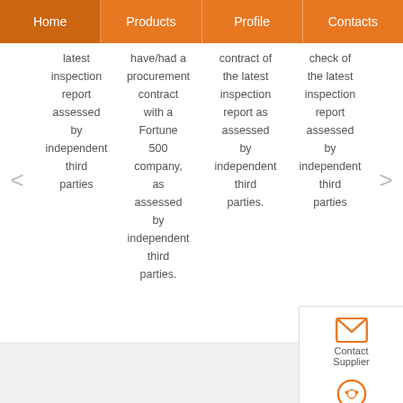Home | Products | Profile | Contacts
latest inspection report assessed by independent third parties
have/had a procurement contract with a Fortune 500 company, as assessed by independent third parties.
contract of the latest inspection report as assessed by independent third parties.
check of the latest inspection report assessed by independent third parties
[Figure (screenshot): Contact Supplier button with envelope icon and chat icon at bottom right]